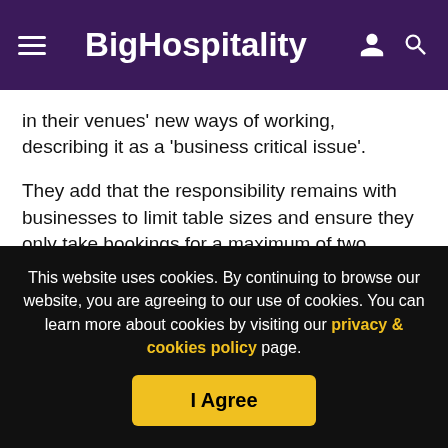BigHospitality
in their venues' new ways of working, describing it as a 'business critical issue'.
They add that the responsibility remains with businesses to limit table sizes and ensure they only take bookings for a maximum of two households; and understand the consequences of not adhering to the guidance.
“There are many methods that can be used to collate the
This website uses cookies. By continuing to browse our website, you are agreeing to our use of cookies. You can learn more about cookies by visiting our privacy & cookies policy page.
I Agree